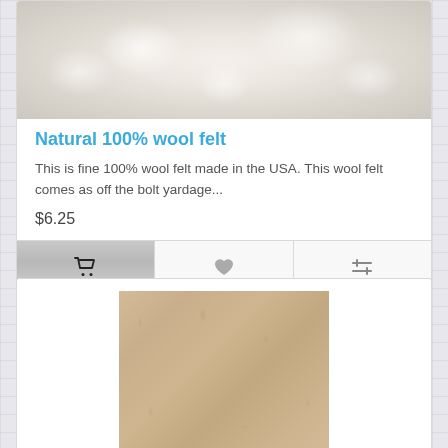[Figure (photo): White fluffy wool felt fabric texture, partially visible at top of first product card]
Natural 100% wool felt
This is fine 100% wool felt made in the USA. This wool felt comes as off the bolt yardage...
$6.25
[Figure (photo): Beige/tan 100% wool felt fabric texture shown as a square swatch in the second product card]